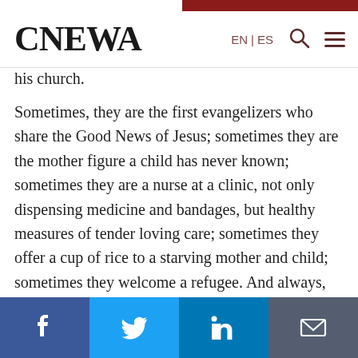CNEWA  EN | ES
his church.
Sometimes, they are the first evangelizers who share the Good News of Jesus; sometimes they are the mother figure a child has never known; sometimes they are a nurse at a clinic, not only dispensing medicine and bandages, but healthy measures of tender loving care; sometimes they offer a cup of rice to a starving mother and child; sometimes they welcome a refugee. And always, they are present. In the midst of war, famine, insurrection, terrorism, ignorance